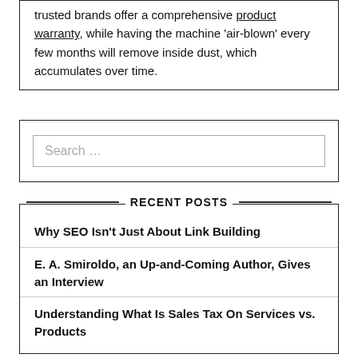trusted brands offer a comprehensive product warranty, while having the machine 'air-blown' every few months will remove inside dust, which accumulates over time.
[Figure (other): Search input box with placeholder text 'Search ...']
RECENT POSTS
Why SEO Isn't Just About Link Building
E. A. Smiroldo, an Up-and-Coming Author, Gives an Interview
Understanding What Is Sales Tax On Services vs. Products